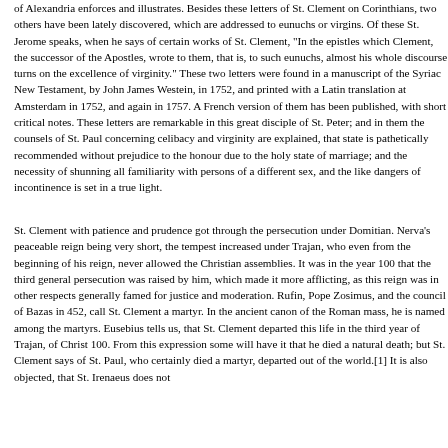of Alexandria enforces and illustrates. Besides these letters of St. Clement on Corinthians, two others have been lately discovered, which are addressed to eunuchs or virgins. Of these St. Jerome speaks, when he says of certain works of St. Clement, "In the epistles which Clement, the successor of the Apostles, wrote to them, that is, to such eunuchs, almost his whole discourse turns on the excellence of virginity." These two letters were found in a manuscript of the Syriac New Testament, by John James Westein, in 1752, and printed with a Latin translation at Amsterdam in 1752, and again in 1757. A French version of them has been published, with short critical notes. These letters are remarkable in this great disciple of St. Peter; and in them the counsels of St. Paul concerning celibacy and virginity are explained, that state is pathetically recommended without prejudice to the honour due to the holy state of marriage; and the necessity of shunning all familiarity with persons of a different sex, and the like dangers of incontinence is set in a true light.
St. Clement with patience and prudence got through the persecution under Domitian. Nerva's peaceable reign being very short, the tempest increased under Trajan, who even from the beginning of his reign, never allowed the Christian assemblies. It was in the year 100 that the third general persecution was raised by him, which made it more afflicting, as this reign was in other respects generally famed for justice and moderation. Rufin, Pope Zosimus, and the council of Bazas in 452, call St. Clement a martyr. In the ancient canon of the Roman mass, he is named among the martyrs. Eusebius tells us, that St. Clement departed this life in the third year of Trajan, of Christ 100. From this expression some will have it that he died a natural death; but St. Clement says of St. Paul, who certainly died a martyr, that he departed out of the world.[1] It is also objected, that St. Irenaeus does not